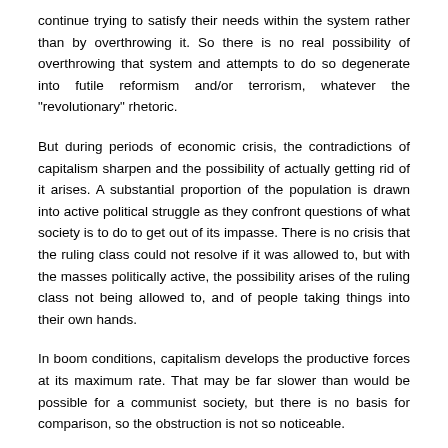continue trying to satisfy their needs within the system rather than by overthrowing it. So there is no real possibility of overthrowing that system and attempts to do so degenerate into futile reformism and/or terrorism, whatever the "revolutionary" rhetoric.
But during periods of economic crisis, the contradictions of capitalism sharpen and the possibility of actually getting rid of it arises. A substantial proportion of the population is drawn into active political struggle as they confront questions of what society is to do to get out of its impasse. There is no crisis that the ruling class could not resolve if it was allowed to, but with the masses politically active, the possibility arises of the ruling class not being allowed to, and of people taking things into their own hands.
In boom conditions, capitalism develops the productive forces at its maximum rate. That may be far slower than would be possible for a communist society, but there is no basis for comparison, so the obstruction is not so noticeable.
The “development of the productive forces” is not some abstract